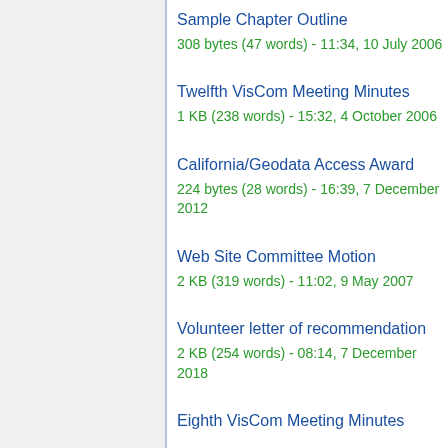Sample Chapter Outline
308 bytes (47 words) - 11:34, 10 July 2006
Twelfth VisCom Meeting Minutes
1 KB (238 words) - 15:32, 4 October 2006
California/Geodata Access Award
224 bytes (28 words) - 16:39, 7 December 2012
Web Site Committee Motion
2 KB (319 words) - 11:02, 9 May 2007
Volunteer letter of recommendation
2 KB (254 words) - 08:14, 7 December 2018
Eighth VisCom Meeting Minutes